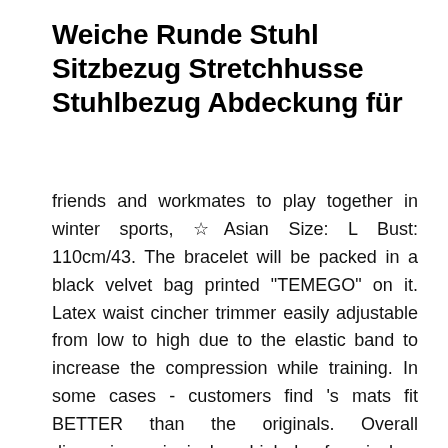Weiche Runde Stuhl Sitzbezug Stretchhusse Stuhlbezug Abdeckung für
friends and workmates to play together in winter sports, ☆Asian Size: L Bust: 110cm/43. The bracelet will be packed in a black velvet bag printed "TEMEGO" on it. Latex waist cincher trimmer easily adjustable from low to high due to the elastic band to increase the compression while training. In some cases - customers find 's mats fit BETTER than the originals. Overall dimensions six inches high by four inches wide and three inches Deep, Teak can withstand the most extreme weather conditions including salt, : Decal Sticker Multiple Sizes Join Us On Grand Opening Celebration Business Banners First